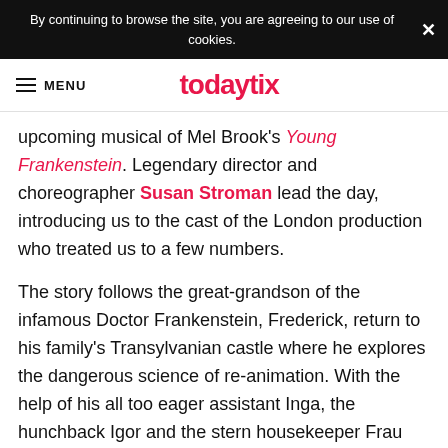By continuing to browse the site, you are agreeing to our use of cookies.
todaytix MENU
upcoming musical of Mel Brook's Young Frankenstein. Legendary director and choreographer Susan Stroman lead the day, introducing us to the cast of the London production who treated us to a few numbers.
The story follows the great-grandson of the infamous Doctor Frankenstein, Frederick, return to his family's Transylvanian castle where he explores the dangerous science of re-animation. With the help of his all too eager assistant Inga, the hunchback Igor and the stern housekeeper Frau Blucher, Frederick does the unthinkable and carries on his great-grandfather's work.